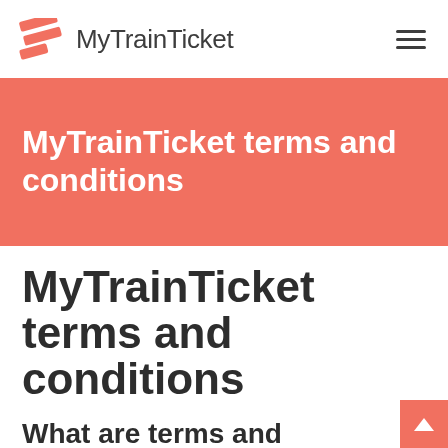MyTrainTicket
MyTrainTicket terms and conditions
MyTrainTicket terms and conditions
What are terms and